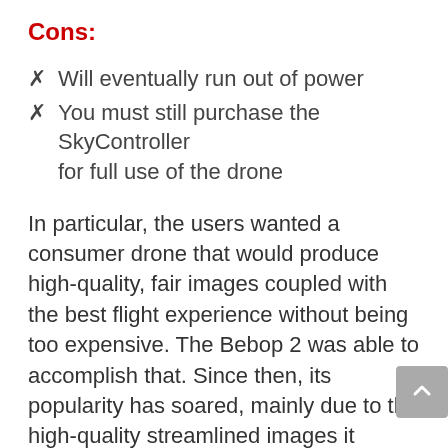Cons:
✗  Will eventually run out of power
✗  You must still purchase the SkyController for full use of the drone
In particular, the users wanted a consumer drone that would produce high-quality, fair images coupled with the best flight experience without being too expensive. The Bebop 2 was able to accomplish that. Since then, its popularity has soared, mainly due to the high-quality streamlined images it produces.
It can take off from your hand and it has a build-in GPS. It also has a Return to Home button that you can press in case of